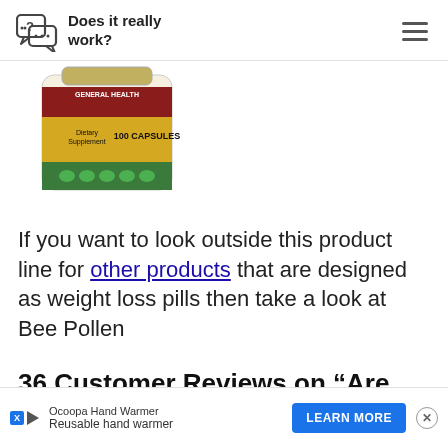Does it really work?
[Figure (photo): Partial view of a supplement bottle with a red label reading GENERAL HEALTH and text Dietary Supplement 100 CAPSULES, with green capsules visible at the bottom.]
If you want to look outside this product line for other products that are designed as weight loss pills then take a look at Bee Pollen
36 Customer Reviews on “Are the Xen... ...Help Cl...
[Figure (other): Advertisement banner: Ocoopa Hand Warmer - Reusable hand warmer, with LEARN MORE button and close X button.]